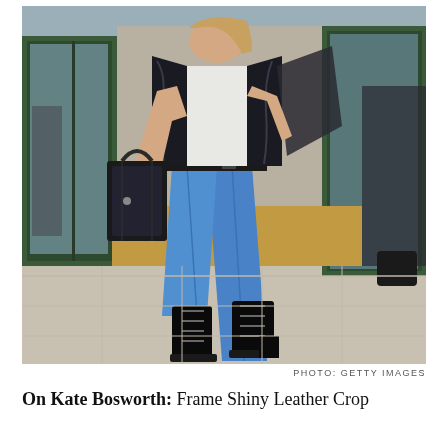[Figure (photo): Street style photo of Kate Bosworth walking on a sidewalk. She wears blue wide-leg cropped jeans, a white top, a shiny black leather/patent jacket, and tall black lace-up combat boots. She carries a black structured handbag. Background shows a building entrance with dark green doors.]
PHOTO: GETTY IMAGES
On Kate Bosworth: Frame Shiny Leather Crop